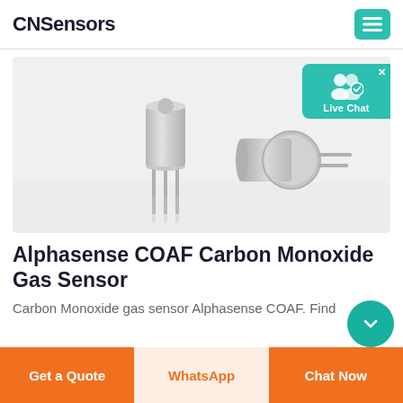CNSensors
[Figure (photo): Two silver metallic TO-39 style gas sensor components (Alphasense COAF Carbon Monoxide sensors) shown on a light grey background — one standing upright showing its cylindrical cap with three pins below, one lying on its side showing the flat flange and two pins. A Live Chat overlay widget appears top right of the image area.]
Alphasense COAF Carbon Monoxide Gas Sensor
Carbon Monoxide gas sensor Alphasense COAF. Find